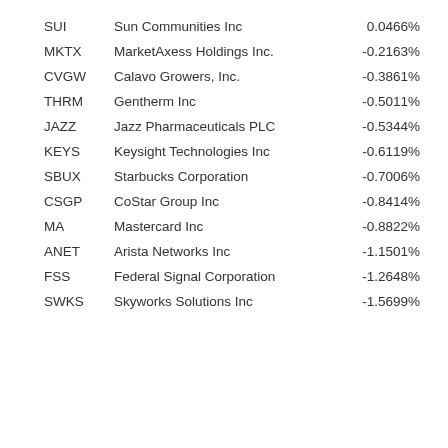| Ticker | Company Name | Value |
| --- | --- | --- |
| SUI | Sun Communities Inc | 0.0466% |
| MKTX | MarketAxess Holdings Inc. | -0.2163% |
| CVGW | Calavo Growers, Inc. | -0.3861% |
| THRM | Gentherm Inc | -0.5011% |
| JAZZ | Jazz Pharmaceuticals PLC | -0.5344% |
| KEYS | Keysight Technologies Inc | -0.6119% |
| SBUX | Starbucks Corporation | -0.7006% |
| CSGP | CoStar Group Inc | -0.8414% |
| MA | Mastercard Inc | -0.8822% |
| ANET | Arista Networks Inc | -1.1501% |
| FSS | Federal Signal Corporation | -1.2648% |
| SWKS | Skyworks Solutions Inc | -1.5699% |